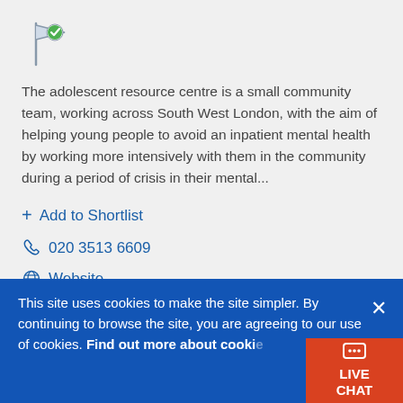[Figure (logo): Flag icon with green checkmark]
The adolescent resource centre is a small community team, working across South West London, with the aim of helping young people to avoid an inpatient mental health by working more intensively with them in the community during a period of crisis in their mental...
+ Add to Shortlist
020 3513 6609
Website
Springfield Hospital, Glenburnie Road, Tooting, London, SW17 7DJ
This site uses cookies to make the site simpler. By continuing to browse the site, you are agreeing to our use of cookies. Find out more about cookies
LIVE CHAT